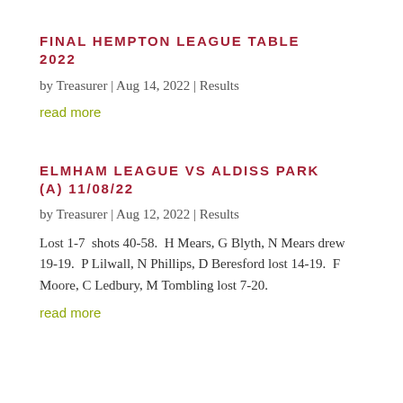FINAL HEMPTON LEAGUE TABLE 2022
by Treasurer | Aug 14, 2022 | Results
read more
ELMHAM LEAGUE VS ALDISS PARK (A) 11/08/22
by Treasurer | Aug 12, 2022 | Results
Lost 1-7  shots 40-58.  H Mears, G Blyth, N Mears drew 19-19.  P Lilwall, N Phillips, D Beresford lost 14-19.  F Moore, C Ledbury, M Tombling lost 7-20.
read more